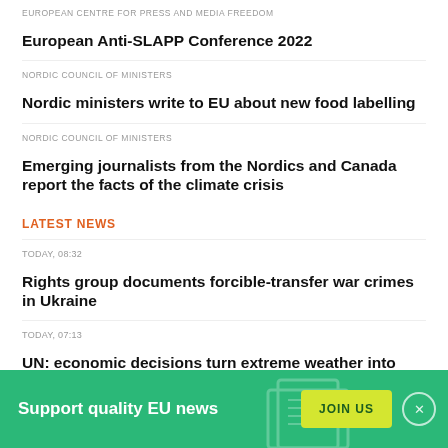EUROPEAN CENTRE FOR PRESS AND MEDIA FREEDOM
European Anti-SLAPP Conference 2022
NORDIC COUNCIL OF MINISTERS
Nordic ministers write to EU about new food labelling
NORDIC COUNCIL OF MINISTERS
Emerging journalists from the Nordics and Canada report the facts of the climate crisis
LATEST NEWS
TODAY, 08:32
Rights group documents forcible-transfer war crimes in Ukraine
TODAY, 07:13
UN: economic decisions turn extreme weather into disasters
Support quality EU news